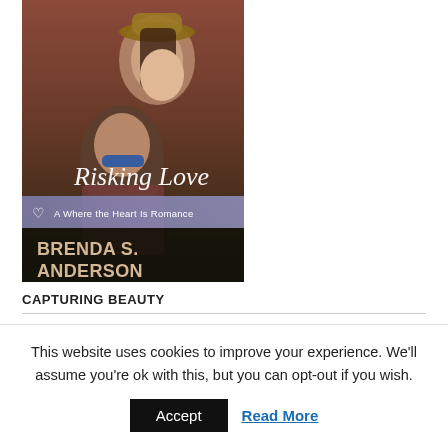[Figure (illustration): Book cover for 'Risking Love: A Where the Heart Is Romance' by Brenda S. Anderson. Shows a smiling couple — a woman in a hat laughing, and a man in sunglasses — with script and serif typography on the cover.]
CAPTURING BEAUTY
This website uses cookies to improve your experience. We'll assume you're ok with this, but you can opt-out if you wish.
Accept   Read More